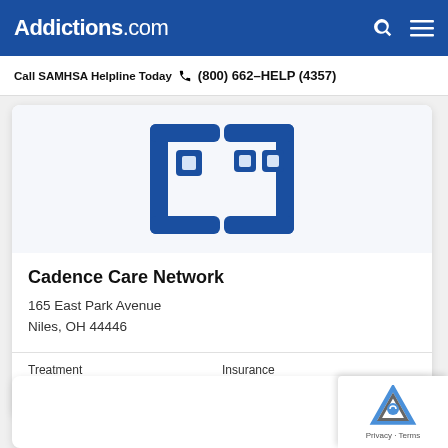Addictions.com
Call SAMHSA Helpline Today  (800) 662-HELP (4357)
[Figure (logo): Cadence Care Network logo — dark blue abstract building/facility icon on light blue background]
Cadence Care Network
165 East Park Avenue
Niles, OH 44446
Treatment
Outpatient
Insurance
Medicaid  Private
[Figure (logo): Partial second facility card visible at bottom of page]